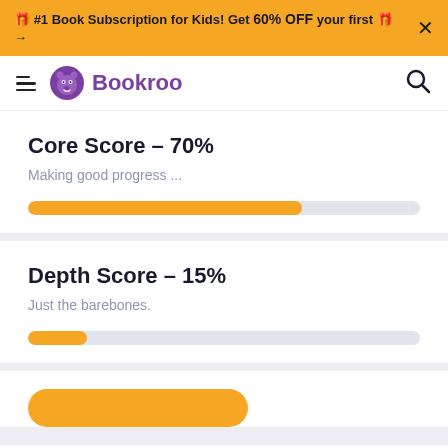🎁 #1 Book Subscription for Kids! Get 60% OFF your first 🎁 →
Bookroo
Core Score – 70%
Making good progress ...
[Figure (other): Progress bar showing 70% fill in orange on grey background]
Depth Score – 15%
Just the barebones.
[Figure (other): Progress bar showing 15% fill in orange on grey background]